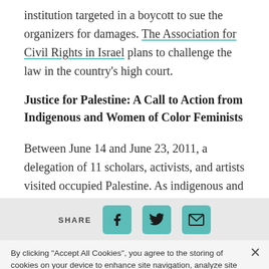institution targeted in a boycott to sue the organizers for damages. The Association for Civil Rights in Israel plans to challenge the law in the country's high court.
Justice for Palestine: A Call to Action from Indigenous and Women of Color Feminists
Between June 14 and June 23, 2011, a delegation of 11 scholars, activists, and artists visited occupied Palestine. As indigenous and women of color
SHARE
By clicking “Accept All Cookies”, you agree to the storing of cookies on your device to enhance site navigation, analyze site usage, and assist in our marketing efforts.